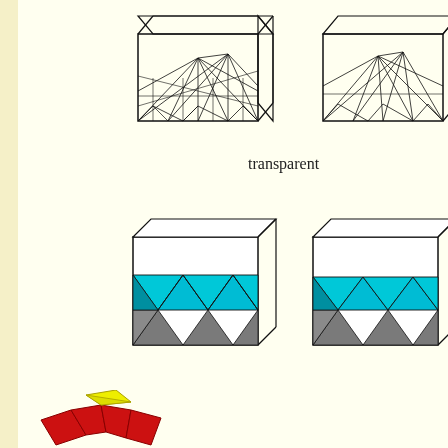[Figure (illustration): Two wireframe transparent cubes with internal tetrahedron chain structure drawn with thin black lines, showing a complex star/crown shape inside each cube. Top section of page.]
transparent
You put this body in the transparent plastic cube, which belon
[Figure (illustration): Two cubes shown with a colored tetrahedron chain inside: cyan/blue triangular faces on top and grey triangular faces on bottom, forming a crown shape fitting inside the cube.]
Second step
[Figure (illustration): Partial view of a tetrahedron chain crown made of red and yellow folded polygons, shown in the bottom-left corner of the page.]
You put the tetrahedron chain o
You must form the "crown". In